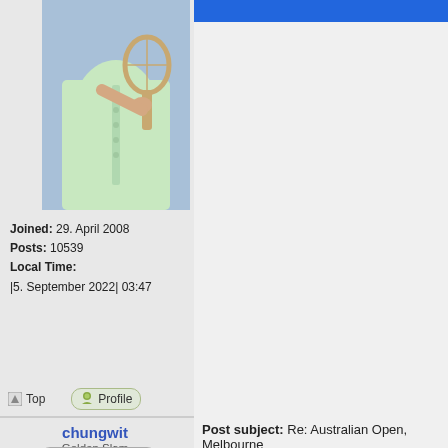[Figure (photo): Photo of a young woman in a light green tennis dress holding a wooden tennis racket, cropped to show torso area, sky background]
Joined: 29. April 2008
Posts: 10539
Local Time:
|5. September 2022| 03:47
Top  Profile
chungwit
Golden Slam
Offline
[Figure (photo): Photo of a young woman smiling, with long brown hair, wearing a light green sleeveless tennis top, holding a wooden tennis racket, sky background]
Post subject: Re: Australian Open, Melbourne
Daniela & Martina play Barbara Schett &
Daniela Hantuchova is right about everyt